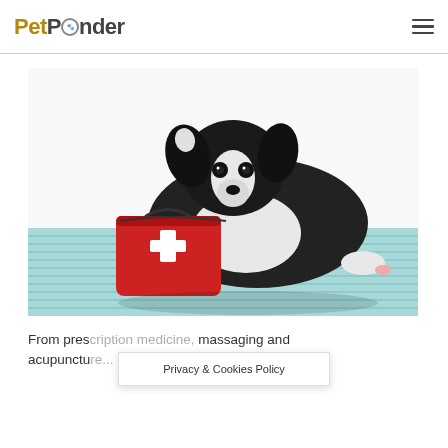PetPonder
[Figure (photo): A black and white border collie puppy lying on a teal/blue striped blanket, resting its chin on a red first aid kit bag with a white cross symbol. White background.]
From prescription medicine, massaging and acupunctu... ...tions for pet owners
Privacy & Cookies Policy